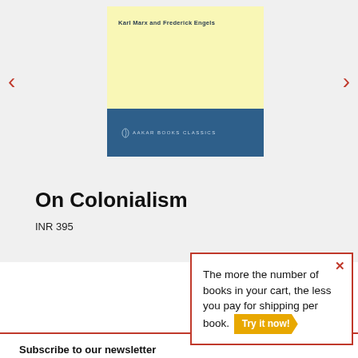[Figure (photo): Book cover of 'On Colonialism' by Karl Marx and Frederick Engels. Top half is pale yellow with author name in small bold text. Bottom half is dark blue with Aakar Books Classics publisher logo.]
On Colonialism
INR 395
The more the number of books in your cart, the less you pay for shipping per book. Try it now!
Subscribe to our newsletter